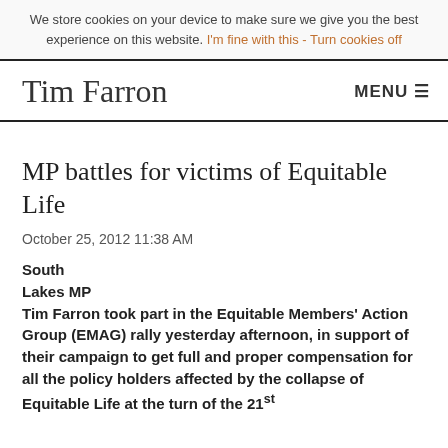We store cookies on your device to make sure we give you the best experience on this website. I'm fine with this - Turn cookies off
Tim Farron
MP battles for victims of Equitable Life
October 25, 2012 11:38 AM
South Lakes MP Tim Farron took part in the Equitable Members' Action Group (EMAG) rally yesterday afternoon, in support of their campaign to get full and proper compensation for all the policy holders affected by the collapse of Equitable Life at the turn of the 21st